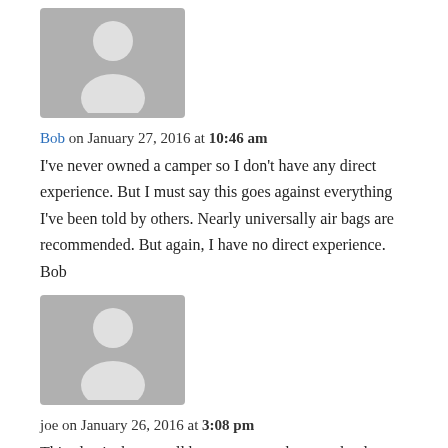[Figure (illustration): Gray placeholder avatar icon showing a silhouette of a person, partial view at top of page]
Bob on January 27, 2016 at 10:46 am
I've never owned a camper so I don't have any direct experience. But I must say this goes against everything I've been told by others. Nearly universally air bags are recommended. But again, I have no direct experience. Bob
[Figure (illustration): Gray placeholder avatar icon showing a silhouette of a person]
joe on January 26, 2016 at 3:08 pm
This also is the overall best way to go because he does not have to give any more cash to the tax man many follow this route they have no car payment like